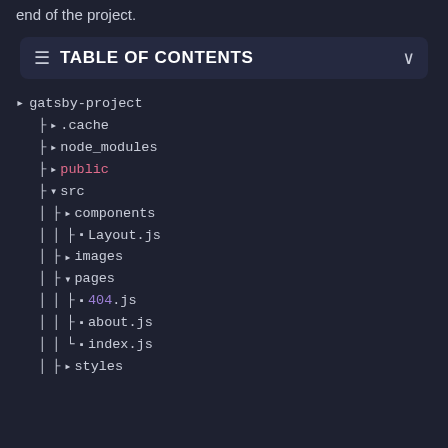end of the project.
TABLE OF CONTENTS
gatsby-project
├ 📁 .cache
├ 📁 node_modules
├ 📁 public
├ 📁 src
│ ├ 📁 components
│ │ ├ 📄 Layout.js
│ ├ 📁 images
│ ├ 📁 pages
│ │ ├ 📄 404.js
│ │ ├ 📄 about.js
│ │ └ 📄 index.js
│ ├ 📁 styles